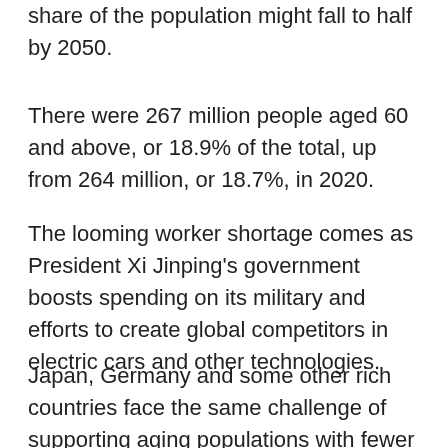share of the population might fall to half by 2050.
There were 267 million people aged 60 and above, or 18.9% of the total, up from 264 million, or 18.7%, in 2020.
The looming worker shortage comes as President Xi Jinping’s government boosts spending on its military and efforts to create global competitors in electric cars and other technologies.
Japan, Germany and some other rich countries face the same challenge of supporting aging populations with fewer workers. But they can draw on investments in factories, technology and foreign assets. By contrast, China